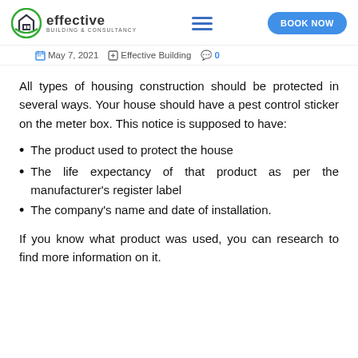effective BUILDING & CONSULTANCY | BOOK NOW
May 7, 2021  Effective Building  0
All types of housing construction should be protected in several ways. Your house should have a pest control sticker on the meter box. This notice is supposed to have:
The product used to protect the house
The life expectancy of that product as per the manufacturer's register label
The company's name and date of installation.
If you know what product was used, you can research to find more information on it.